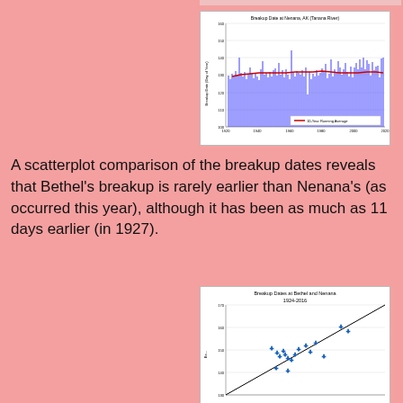[Figure (continuous-plot): Time series line chart showing breakup dates (Day of Year) at Nenana, AK from approximately 1920 to 2020. Black and blue vertical bars show annual values fluctuating roughly between 110 and 141. A red 10-Year Running Average line trends slightly downward from about 128 in 1920 to about 121 in 2020.]
A scatterplot comparison of the breakup dates reveals that Bethel's breakup is rarely earlier than Nenana's (as occurred this year), although it has been as much as 11 days earlier (in 1927).
[Figure (scatter-plot): Scatter plot comparing breakup dates at Bethel and Nenana from 1924-2016. X-axis appears to be Nenana dates and Y-axis Bethel dates. Blue cross markers scattered mostly above a diagonal reference line. A few points below the line. Y-axis range approximately 130-165, x-axis range approximately 110-165.]